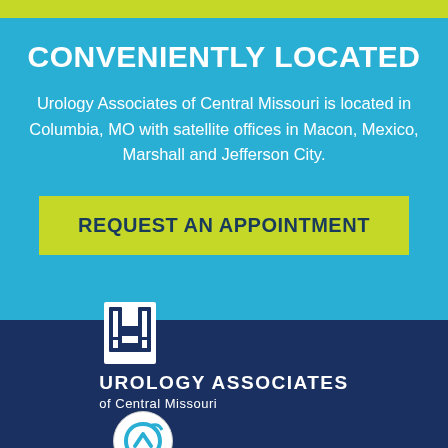CONVENIENTLY LOCATED
Urology Associates of Central Missouri is located in Columbia, MO with satellite offices in Macon, Mexico, Marshall and Jefferson City.
REQUEST AN APPOINTMENT
[Figure (logo): Urology Associates of Central Missouri logo with stylized U and H icon on dark navy background, plus a circular Primoris badge on the right]